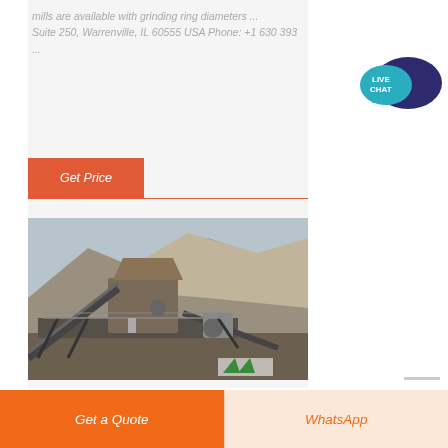mills are available with grinding ring diameters ... Suite 250, Warrenville, IL 60555 USA Phone: +1 630 393 ...
[Figure (other): Get Price button (orange/red) with horizontal divider line below]
[Figure (photo): Mining/quarry site with heavy industrial crushing equipment, conveyor belts, and rocky hillside in the background]
[Figure (illustration): Live Chat speech bubble icon in teal/dark blue colors positioned in the right sidebar]
[Figure (other): Bottom navigation bar with two buttons: orange 'Get a Quote' button on left and light orange 'WhatsApp' button on right]